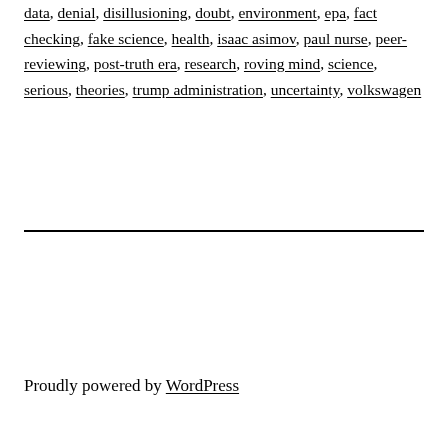data, denial, disillusioning, doubt, environment, epa, fact checking, fake science, health, isaac asimov, paul nurse, peer-reviewing, post-truth era, research, roving mind, science, serious, theories, trump administration, uncertainty, volkswagen
Proudly powered by WordPress